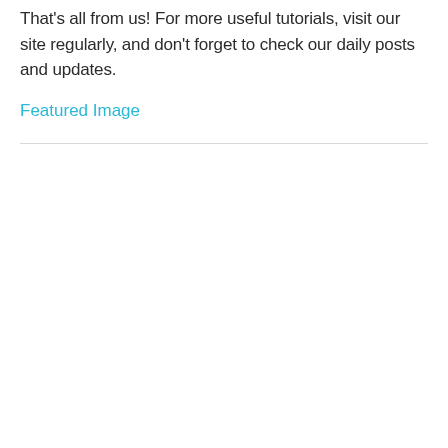That's all from us! For more useful tutorials, visit our site regularly, and don't forget to check our daily posts and updates.
Featured Image